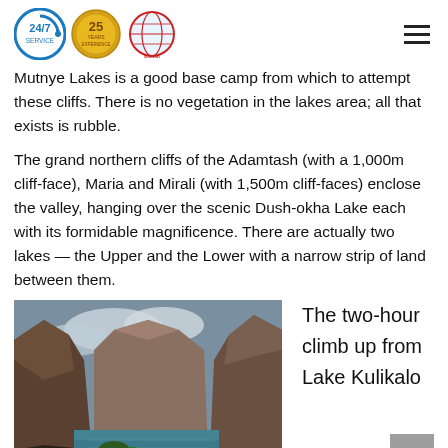Asia Travel website header with 24/7 service logo, 25 years badge, and Asia Travel globe logo, plus hamburger menu
Mutnye Lakes is a good base camp from which to attempt these cliffs. There is no vegetation in the lakes area; all that exists is rubble.
The grand northern cliffs of the Adamtash (with a 1,000m cliff-face), Maria and Mirali (with 1,500m cliff-faces) enclose the valley, hanging over the scenic Dush-okha Lake each with its formidable magnificence. There are actually two lakes — the Upper and the Lower with a narrow strip of land between them.
[Figure (photo): Mountain lake surrounded by tall rocky cliffs with a narrow body of turquoise water, trees visible in foreground, cloudy sky above]
The two-hour climb up from Lake Kulikalo